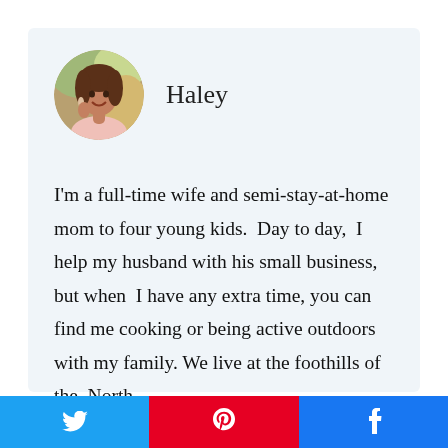[Figure (photo): Circular profile photo of Haley, a woman smiling outdoors with a blurred natural background]
Haley
I'm a full-time wife and semi-stay-at-home mom to four young kids.  Day to day,  I help my husband with his small business, but when  I have any extra time, you can find me cooking or being active outdoors with my family. We live at the foothills of the  North